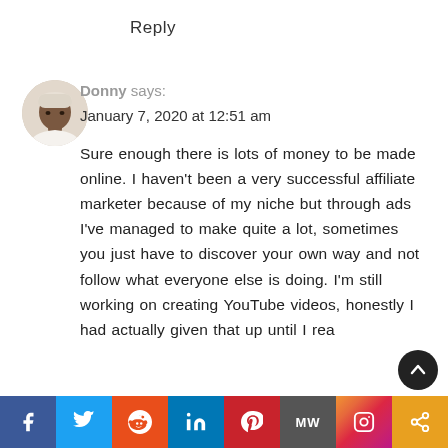Reply
[Figure (photo): Avatar photo of a young Black man wearing a white garment, circular crop, beige/tan background]
Donny says:
January 7, 2020 at 12:51 am
Sure enough there is lots of money to be made online. I haven't been a very successful affiliate marketer because of my niche but through ads I've managed to make quite a lot, sometimes you just have to discover your own way and not follow what everyone else is doing. I'm still working on creating YouTube videos, honestly I had actually given that up until I rea...
f  [Twitter]  [Reddit]  in  [Pinterest]  MW  [Instagram]  [Share]